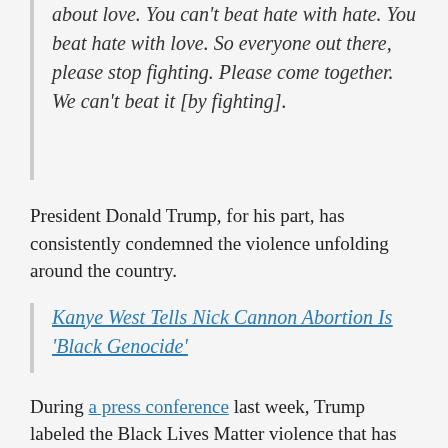about love. You can't beat hate with hate. You beat hate with love. So everyone out there, please stop fighting. Please come together. We can't beat it [by fighting].
President Donald Trump, for his part, has consistently condemned the violence unfolding around the country.
Kanye West Tells Nick Cannon Abortion Is 'Black Genocide'
During a press conference last week, Trump labeled the Black Lives Matter violence that has unfolded in Kenosha, Wisconsin, "domestic terrorism."